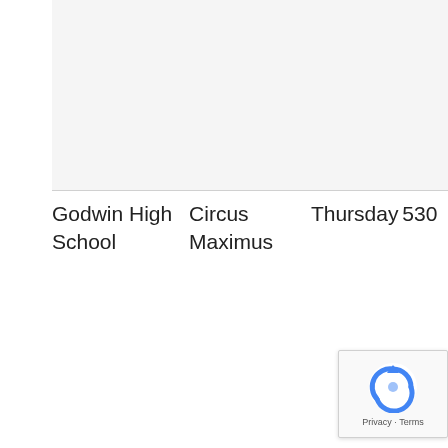| School | Venue | Day | Number |
| --- | --- | --- | --- |
| Godwin High School | Circus Maximus | Thursday | 530 |
[Figure (logo): reCAPTCHA badge with Privacy and Terms links]